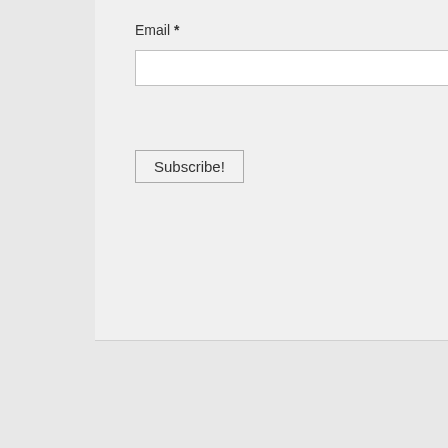Email *
Editor Introduction The Church, and T
Postmodernism, T Future
How to Lead a Mis Expands God's Ki